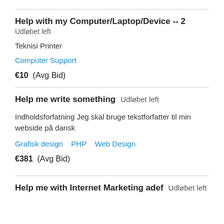Help with my Computer/Laptop/Device -- 2
Udløbet left
Teknisi Printer
Computer Support
€10  (Avg Bid)
Help me write something  Udløbet left
Indholdsforfatning Jeg skal bruge tekstforfatter til min webside på dansk
Grafisk design  PHP  Web Design
€381  (Avg Bid)
Help me with Internet Marketing adef  Udløbet left